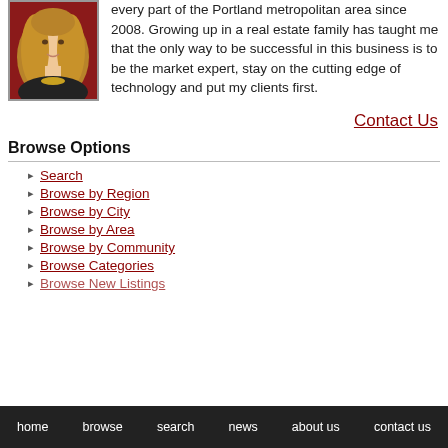[Figure (photo): Portrait photo of a woman with long wavy blonde-brown hair wearing a dark top with a gold necklace, against a red background.]
every part of the Portland metropolitan area since 2008. Growing up in a real estate family has taught me that the only way to be successful in this business is to be the market expert, stay on the cutting edge of technology and put my clients first.
Contact Us
Browse Options
Search
Browse by Region
Browse by City
Browse by Area
Browse by Community
Browse Categories
Browse New Listings
home   browse   search   news   about us   contact us